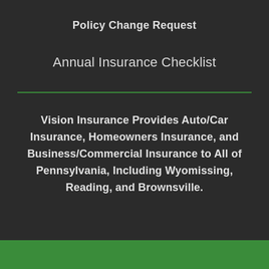Policy Change Request
Annual Insurance Checklist
Vision Insurance Provides Auto/Car Insurance, Homeowners Insurance, and Business/Commercial Insurance to All of Pennsylvania, Including Wyomissing, Reading, and Brownsville.